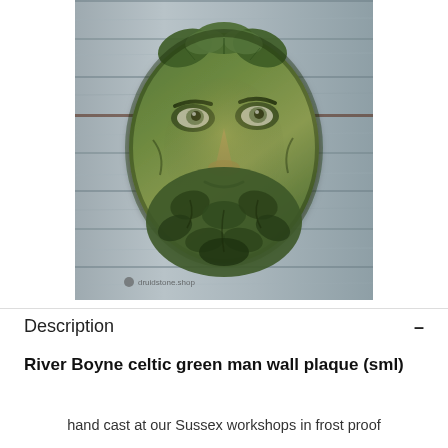[Figure (photo): Photo of a green man wall plaque — a sculpted stone face with a beard and leafy head decoration, finished in green-tinged stone, photographed against a wooden plank background. A small watermark reads 'druidstone.shop' at the bottom left.]
Description –
River Boyne celtic green man wall plaque (sml)
hand cast at our Sussex workshops in frost proof